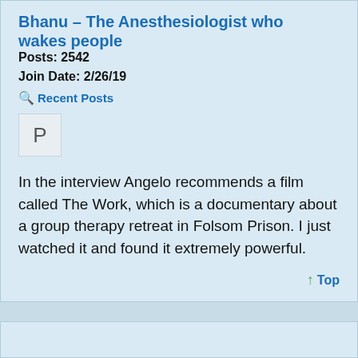Bhanu – The Anesthesiologist who wakes people
Posts: 2542
Join Date: 2/26/19
Recent Posts
[Figure (other): Avatar placeholder box with letter P]
In the interview Angelo recommends a film called The Work, which is a documentary about a group therapy retreat in Folsom Prison. I just watched it and found it extremely powerful.
Top